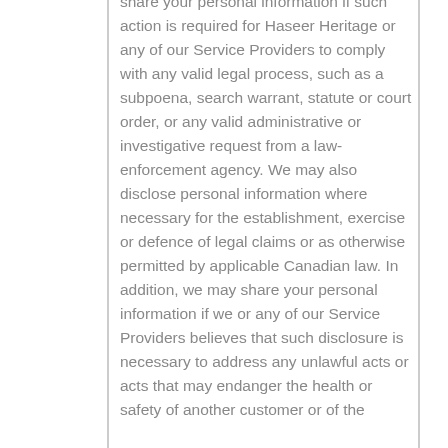share your personal information if such action is required for Haseer Heritage or any of our Service Providers to comply with any valid legal process, such as a subpoena, search warrant, statute or court order, or any valid administrative or investigative request from a law-enforcement agency. We may also disclose personal information where necessary for the establishment, exercise or defence of legal claims or as otherwise permitted by applicable Canadian law. In addition, we may share your personal information if we or any of our Service Providers believes that such disclosure is necessary to address any unlawful acts or acts that may endanger the health or safety of another customer or of the